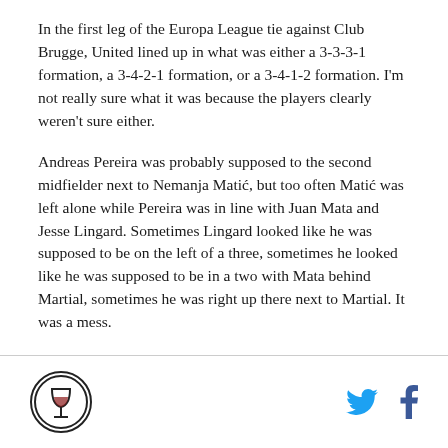In the first leg of the Europa League tie against Club Brugge, United lined up in what was either a 3-3-3-1 formation, a 3-4-2-1 formation, or a 3-4-1-2 formation. I'm not really sure what it was because the players clearly weren't sure either.
Andreas Pereira was probably supposed to the second midfielder next to Nemanja Matić, but too often Matić was left alone while Pereira was in line with Juan Mata and Jesse Lingard. Sometimes Lingard looked like he was supposed to be on the left of a three, sometimes he looked like he was supposed to be in a two with Mata behind Martial, sometimes he was right up there next to Martial. It was a mess.
[Figure (logo): Circular logo with a wine glass icon, black and white]